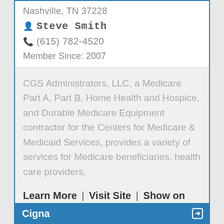Nashville, TN 37228
Steve Smith
(615) 782-4520
Member Since: 2007
CGS Administrators, LLC, a Medicare Part A, Part B, Home Health and Hospice, and Durable Medicare Equipment contractor for the Centers for Medicare & Medicaid Services, provides a variety of services for Medicare beneficiaries, health care providers,
Learn More | Visit Site | Show on Map
Cigna